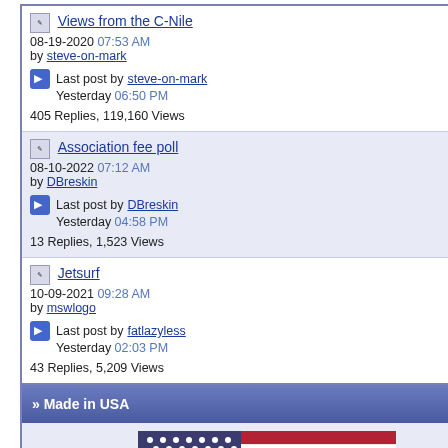Views from the C-Nile
08-19-2020 07:53 AM
by steve-on-mark
Last post by steve-on-mark
Yesterday 06:50 PM
405 Replies, 119,160 Views
Association fee poll
08-10-2022 07:12 AM
by DBreskin
Last post by DBreskin
Yesterday 04:58 PM
13 Replies, 1,523 Views
Jetsurf
10-09-2021 09:28 AM
by mswlogo
Last post by fatlazyless
Yesterday 02:03 PM
43 Replies, 5,209 Views
» Made in USA
[Figure (illustration): American flag (USA flag) illustration showing stars and stripes in red, white, and blue]